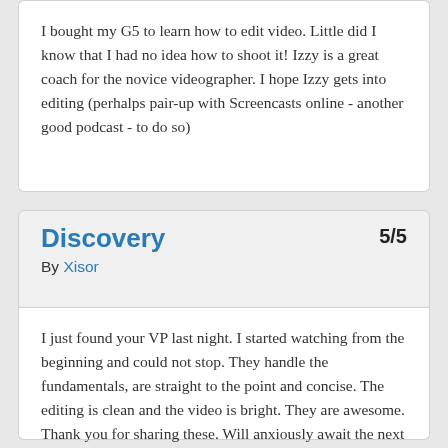I bought my G5 to learn how to edit video. Little did I know that I had no idea how to shoot it! Izzy is a great coach for the novice videographer. I hope Izzy gets into editing (perhalps pair-up with Screencasts online - another good podcast - to do so)
Discovery
5/5
By Xisor
I just found your VP last night. I started watching from the beginning and could not stop. They handle the fundamentals, are straight to the point and concise. The editing is clean and the video is bright. They are awesome. Thank you for sharing these. Will anxiously await the next one.